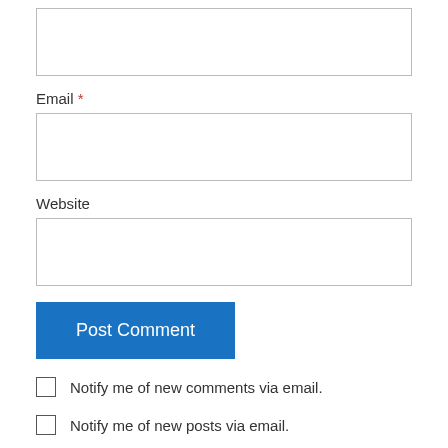[Figure (screenshot): Empty text input field at top of page (Name field, partially visible)]
Email *
[Figure (screenshot): Email input text field, empty]
Website
[Figure (screenshot): Website input text field, empty]
Post Comment
Notify me of new comments via email.
Notify me of new posts via email.
Jack Renpart on June 21, 2017 at 1:14 pm